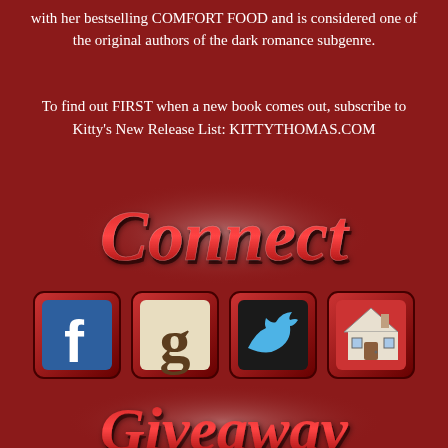with her bestselling COMFORT FOOD and is considered one of the original authors of the dark romance subgenre.
To find out FIRST when a new book comes out, subscribe to Kitty's New Release List: KITTYTHOMAS.COM
[Figure (illustration): Decorative script text reading 'Connect' in red with white glow effect on dark red background]
[Figure (illustration): Four social media icon buttons with red 3D key/button style: Facebook (blue f), Goodreads (tan g), Twitter (dark with bird), and a house/home icon]
[Figure (illustration): Decorative script text reading 'Giveaway' in red with white glow effect on dark red background, partially visible at bottom]